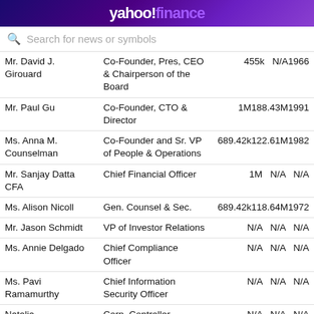[Figure (logo): Yahoo Finance header bar with logo]
[Figure (screenshot): Search bar with placeholder text 'Search for news or symbols']
| Name | Title | Pay | Exercised | Year Born |
| --- | --- | --- | --- | --- |
| Mr. David J. Girouard | Co-Founder, Pres, CEO & Chairperson of the Board | 455k | N/A | 1966 |
| Mr. Paul Gu | Co-Founder, CTO & Director | 1M | 188.43M | 1991 |
| Ms. Anna M. Counselman | Co-Founder and Sr. VP of People & Operations | 689.42k | 122.61M | 1982 |
| Mr. Sanjay Datta CFA | Chief Financial Officer | 1M | N/A | N/A |
| Ms. Alison Nicoll | Gen. Counsel & Sec. | 689.42k | 118.64M | 1972 |
| Mr. Jason Schmidt | VP of Investor Relations | N/A | N/A | N/A |
| Ms. Annie Delgado | Chief Compliance Officer | N/A | N/A | N/A |
| Ms. Pavi Ramamurthy | Chief Information Security Officer | N/A | N/A | N/A |
| Natalia Mirgorodskaya | Corp. Controller | N/A | N/A | N/A |
Amounts are as of 31 December 2021, and compensation values are for the last fiscal year ending on that date. Pay includes salary, bonuses, etc. Exercised is the value of options exercised during the fiscal year. Currency in